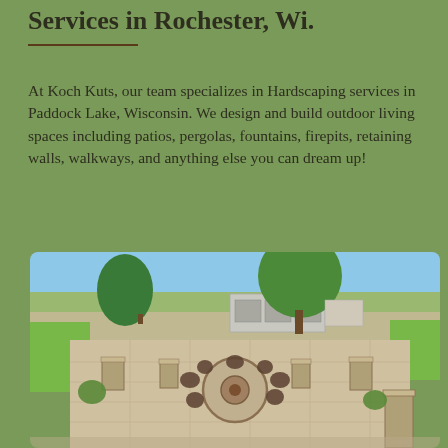Services in Rochester, Wi.
At Koch Kuts, our team specializes in Hardscaping services in Paddock Lake, Wisconsin. We design and build outdoor living spaces including patios, pergolas, fountains, firepits, retaining walls, walkways, and anything else you can dream up!
[Figure (photo): Aerial view of an outdoor hardscaping patio with a circular firepit surrounded by chairs and stone pillars, with a lawn, trees, and a shed/garage building visible in the background.]